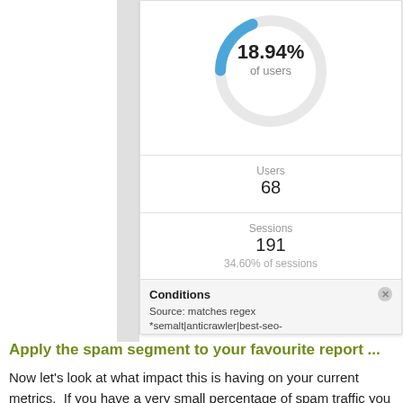[Figure (screenshot): Google Analytics segment popup showing a donut chart with 18.94% of users, Users: 68, Sessions: 191, 34.60% of sessions, and Conditions: Source matches regex *semalt|anticrawler|best-seo-]
Apply the spam segment to your favourite report ...
Now let's look at what impact this is having on your current metrics.  If you have a very small percentage of spam traffic you might want to stop here, but anything over a few percent is worth a bit of investigation.